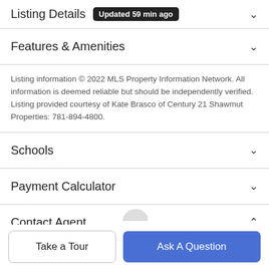Listing Details Updated 59 min ago
Features & Amenities
Listing information © 2022 MLS Property Information Network. All information is deemed reliable but should be independently verified. Listing provided courtesy of Kate Brasco of Century 21 Shawmut Properties: 781-894-4800.
Schools
Payment Calculator
Contact Agent
Take a Tour
Ask A Question